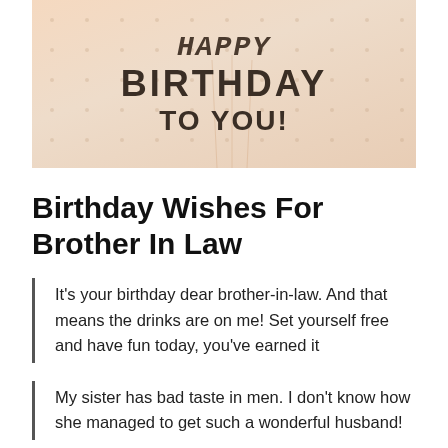[Figure (illustration): Happy Birthday To You banner image with dotted background in warm beige/peach tones]
Birthday Wishes For Brother In Law
It's your birthday dear brother-in-law. And that means the drinks are on me! Set yourself free and have fun today, you've earned it
My sister has bad taste in men. I don't know how she managed to get such a wonderful husband!